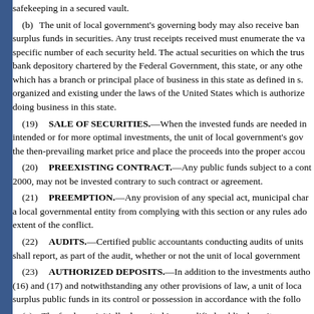safekeeping in a secured vault.
(b) The unit of local government's governing body may also receive ban surplus funds in securities. Any trust receipts received must enumerate the va specific number of each security held. The actual securities on which the trus bank depository chartered by the Federal Government, this state, or any othe which has a branch or principal place of business in this state as defined in s. organized and existing under the laws of the United States which is authorize doing business in this state.
(19) SALE OF SECURITIES.—When the invested funds are needed in intended or for more optimal investments, the unit of local government's gov the then-prevailing market price and place the proceeds into the proper acco
(20) PREEXISTING CONTRACT.—Any public funds subject to a cont 2000, may not be invested contrary to such contract or agreement.
(21) PREEMPTION.—Any provision of any special act, municipal char a local governmental entity from complying with this section or any rules ad extent of the conflict.
(22) AUDITS.—Certified public accountants conducting audits of units shall report, as part of the audit, whether or not the unit of local government
(23) AUTHORIZED DEPOSITS.—In addition to the investments autho (16) and (17) and notwithstanding any other provisions of law, a unit of loca surplus public funds in its control or possession in accordance with the follo
(a) The funds are initially deposited in a qualified public depository, as c local government.